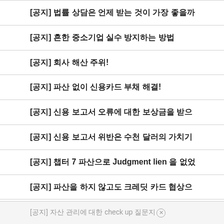[공지] 법률 상담은 언제 받는 것이 가장 좋을까
[공지] 흔한 중소기업 실수 방지하는 방법
[공지] 회사 해산 주위!
[공지] 파산 없이 신용카드 부채 해결!
[공지] 신용 보고서 오류에 대한 보상금을 받으
[공지] 신용 보고서 위반은 수천 달러의 가치기
[공지] 챕터 7 파산으로 Judgment lien 을 없없
[공지] 파산을 하지 않고도 크레딧 카드 협상으
[공지] 자산 관리에 대한 check up 질문지